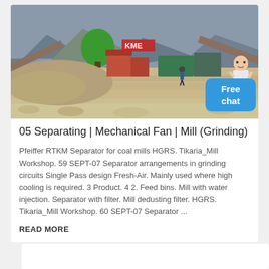[Figure (photo): Outdoor industrial mineral processing / stone crushing plant with conveyor belts, machinery, piles of crushed rock/gravel, red building structures with 'KME' signage, mountains in background. A person is visible walking in the yard.]
05 Separating | Mechanical Fan | Mill (Grinding)
Pfeiffer RTKM Separator for coal mills HGRS. Tikaria_Mill Workshop. 59 SEPT-07 Separator arrangements in grinding circuits Single Pass design Fresh-Air. Mainly used where high cooling is required. 3 Product. 4 2. Feed bins. Mill with water injection. Separator with filter. Mill dedusting filter. HGRS. Tikaria_Mill Workshop. 60 SEPT-07 Separator ...
READ MORE